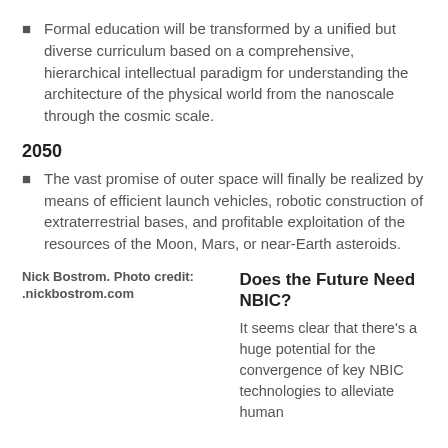Formal education will be transformed by a unified but diverse curriculum based on a comprehensive, hierarchical intellectual paradigm for understanding the architecture of the physical world from the nanoscale through the cosmic scale.
2050
The vast promise of outer space will finally be realized by means of efficient launch vehicles, robotic construction of extraterrestrial bases, and profitable exploitation of the resources of the Moon, Mars, or near-Earth asteroids.
[Figure (photo): Nick Bostrom. Photo credit: .nickbostrom.com]
Does the Future Need NBIC?
It seems clear that there's a huge potential for the convergence of key NBIC technologies to alleviate human